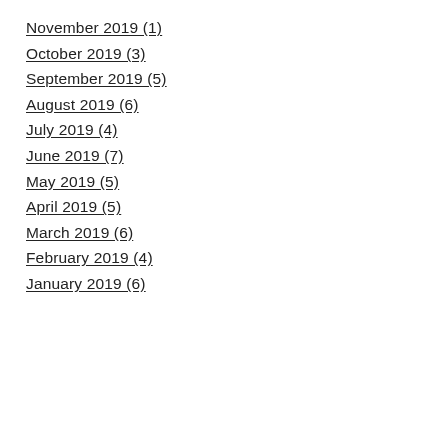November 2019 (1)
October 2019 (3)
September 2019 (5)
August 2019 (6)
July 2019 (4)
June 2019 (7)
May 2019 (5)
April 2019 (5)
March 2019 (6)
February 2019 (4)
January 2019 (6)